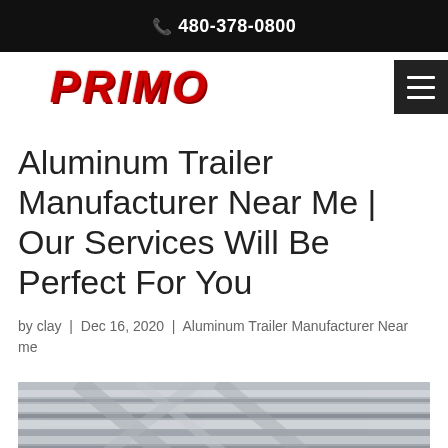480-378-0800
[Figure (logo): Primo company logo in bold red italic text]
Aluminum Trailer Manufacturer Near Me | Our Services Will Be Perfect For You
by clay | Dec 16, 2020 | Aluminum Trailer Manufacturer Near me
[Figure (photo): Close-up photo of aluminum trailer extrusions/profiles stacked together, showing metallic silver surface]